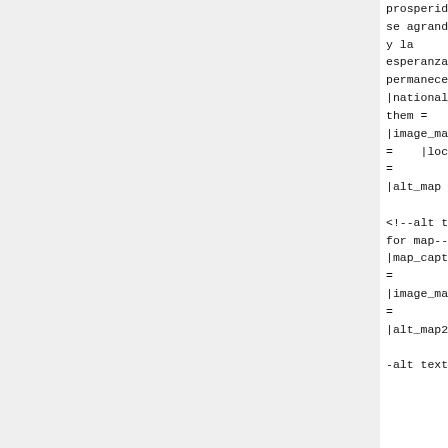prosperidad se agrandece y la esperanza permanece |national_anthem = |image_map = |loctext = |alt_map = <!--alt text for map--> |map_caption = |image_map2 = |alt_map2 = <!- -alt text
prosperidad se agrandece y la esperanza permanece |national_anthem = |image_map = |loctext = |alt_map = <!--alt text for map--> |map_caption = |image_map2 = |alt_map2 = <!- -alt text